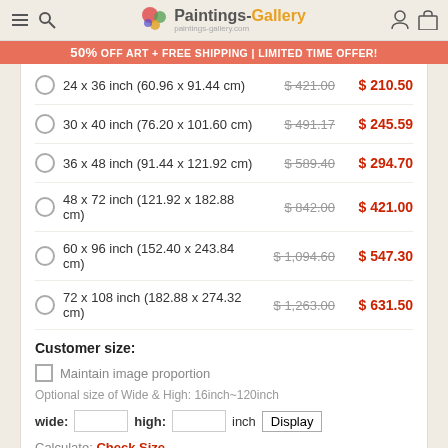Paintings-Gallery | paintings-gallery.com
50% OFF ART + FREE SHIPPING | LIMITED TIME OFFER!
24 x 36 inch (60.96 x 91.44 cm) — $421.00 → $210.50
30 x 40 inch (76.20 x 101.60 cm) — $491.17 → $245.59
36 x 48 inch (91.44 x 121.92 cm) — $589.40 → $294.70
48 x 72 inch (121.92 x 182.88 cm) — $842.00 → $421.00
60 x 96 inch (152.40 x 243.84 cm) — $1,094.60 → $547.30
72 x 108 inch (182.88 x 274.32 cm) — $1,263.00 → $631.50
Customer size:
Maintain image proportion
Optional size of Wide & High: 16inch~120inch
wide: [input] high: [input] inch [Display]
Calculate: Check Size
Step 2: Framed or Unframed